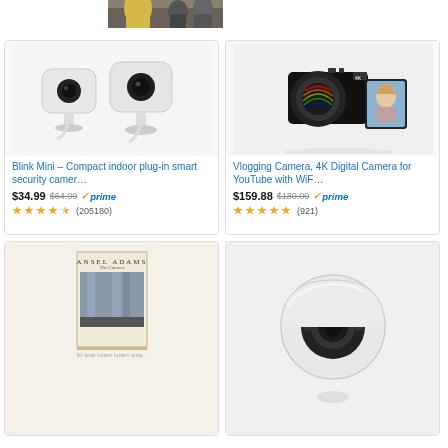[Figure (photo): Partial photo of people in a crowd, woman in yellow coat visible]
[Figure (photo): Blink Mini compact indoor security cameras (two white cameras)]
Blink Mini – Compact indoor plug-in smart security camer…
$34.99  $64.99  ✓prime
★★★★½ (205180)
[Figure (photo): Vlogging Camera, 4K Digital Camera with flip screen showing woman]
Vlogging Camera, 4K Digital Camera for YouTube with WiF…
$159.88  $180.00  ✓prime
★★★★★ (921)
[Figure (photo): Ansel Adams: The Camera book cover showing waterfall]
[Figure (photo): Arlo wireless security camera, white cylindrical camera]